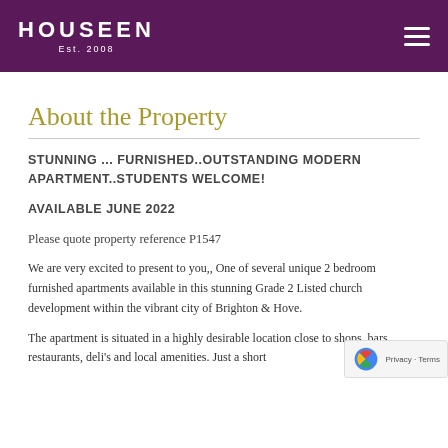HOUSEEN Est. 2008
About the Property
STUNNING ... FURNISHED..OUTSTANDING MODERN APARTMENT..STUDENTS WELCOME!
AVAILABLE JUNE 2022
Please quote property reference P1547
We are very excited to present to you,, One of several unique 2 bedroom furnished apartments available in this stunning Grade 2 Listed church development within the vibrant city of Brighton & Hove.
The apartment is situated in a highly desirable location close to shops, bars, restaurants, deli's and local amenities. Just a short